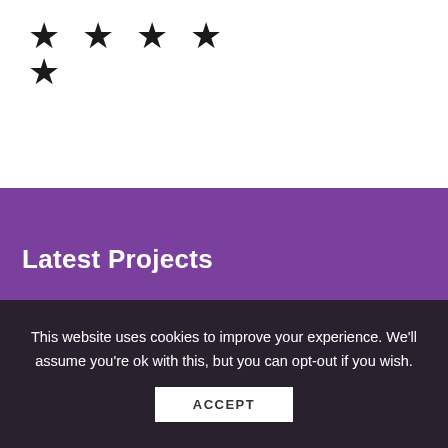[Figure (other): Five black star rating icons in a row]
Latest Projects
[Figure (other): Project card with thumbnail image of venetian blinds and text 'HQ upgrade' on purple background with up arrow button, and partial second row with dark thumbnail and small image on right]
This website uses cookies to improve your experience. We'll assume you're ok with this, but you can opt-out if you wish.
ACCEPT